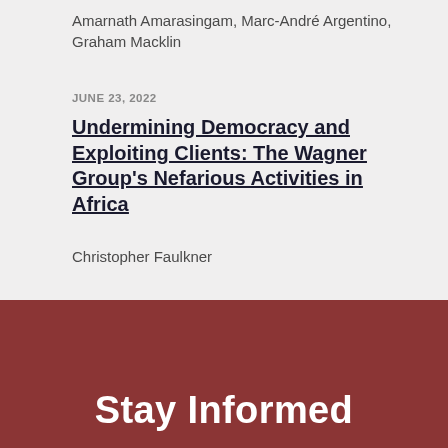Amarnath Amarasingam, Marc-André Argentino, Graham Macklin
JUNE 23, 2022
Undermining Democracy and Exploiting Clients: The Wagner Group's Nefarious Activities in Africa
Christopher Faulkner
Stay Informed